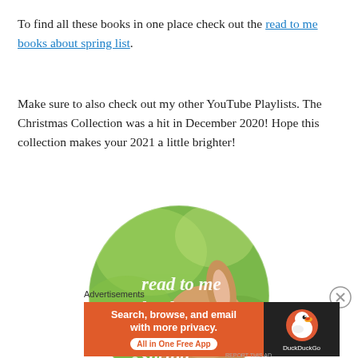To find all these books in one place check out the read to me books about spring list.
Make sure to also check out my other YouTube Playlists. The Christmas Collection was a hit in December 2020! Hope this collection makes your 2021 a little brighter!
[Figure (photo): Circular photo of a fluffy baby rabbit on green grass with white handwritten text overlay reading 'read to me books about spring']
Advertisements
[Figure (screenshot): DuckDuckGo advertisement banner with orange background. Left side reads 'Search, browse, and email with more privacy. All in One Free App'. Right side shows DuckDuckGo duck logo on dark background.]